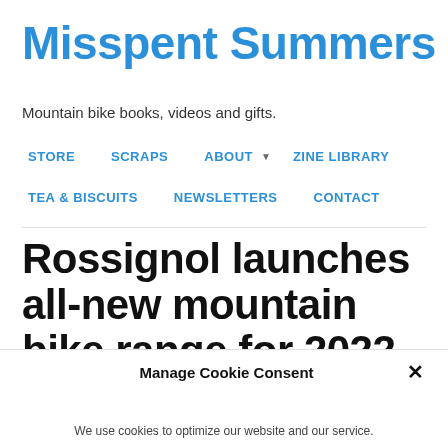Misspent Summers
Mountain bike books, videos and gifts.
STORE
SCRAPS
ABOUT ▼
ZINE LIBRARY
TEA & BISCUITS
NEWSLETTERS
CONTACT
Rossignol launches all-new mountain bike range for 2022
Manage Cookie Consent
We use cookies to optimize our website and our service.